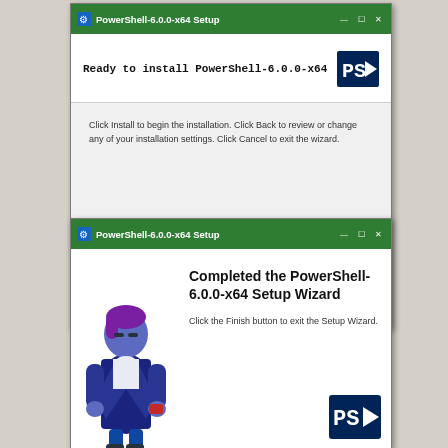[Figure (screenshot): PowerShell-6.0.0-x64 Setup dialog: 'Ready to install PowerShell-6.0.0-x64' with Back, Install, Cancel buttons]
[Figure (screenshot): PowerShell-6.0.0-x64 Setup completion dialog: 'Completed the PowerShell-6.0.0-x64 Setup Wizard' with animated character and PS logo]